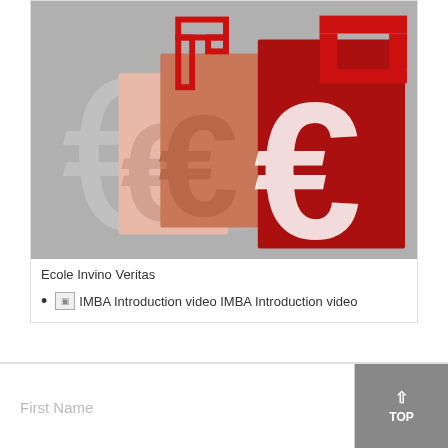[Figure (illustration): Ecole Invino Veritas logo image showing layered euro currency symbols in shades of light pink, salmon/coral, and dark red on a grey background]
Ecole Invino Veritas
IMBA Introduction video IMBA Introduction video
First Name